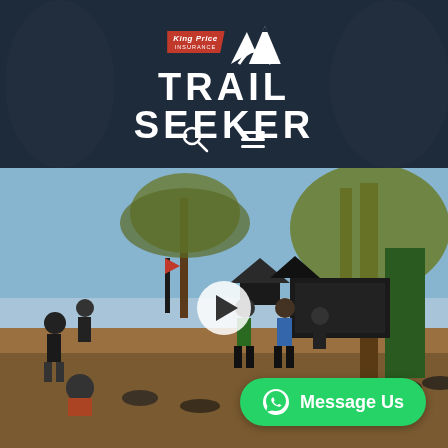[Figure (logo): King Price Insurance Trail Seeker logo with mountain graphic on dark header background]
[Figure (photo): Outdoor mountain biking event scene with cyclists, trees, tents, and a food stall in a dusty outdoor area]
Message Us